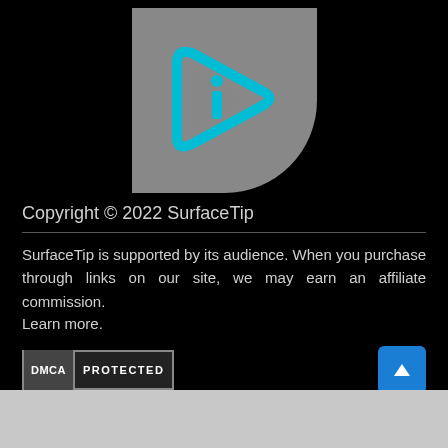[Figure (logo): SurfaceTip logo: cyan/teal play-button arrow with letter i inside, on a gray rounded background]
Copyright © 2022 SurfaceTip
SurfaceTip is supported by its audience. When you purchase through links on our site, we may earn an affiliate commission. Learn more.
[Figure (logo): DMCA PROTECTED badge]
AN ELITE CAFEMEDIA TECH PUBLISHER